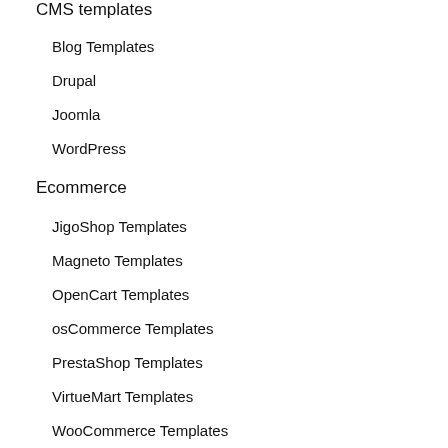CMS templates
Blog Templates
Drupal
Joomla
WordPress
Ecommerce
JigoShop Templates
Magneto Templates
OpenCart Templates
osCommerce Templates
PrestaShop Templates
VirtueMart Templates
WooCommerce Templates